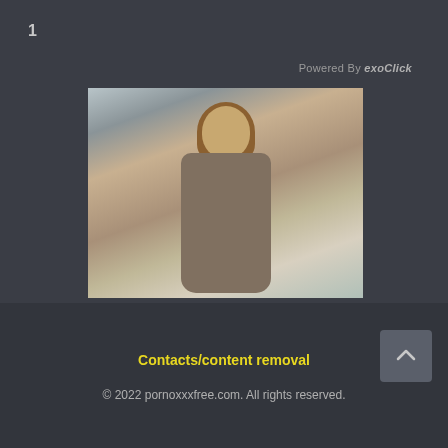1
Powered By exoClick
[Figure (photo): Young woman with long brown hair wearing a grey long-sleeve fitted top, smiling outdoors in a snowy setting with a fence and trees in the background.]
Contacts/content removal
© 2022 pornoxxxfree.com. All rights reserved.